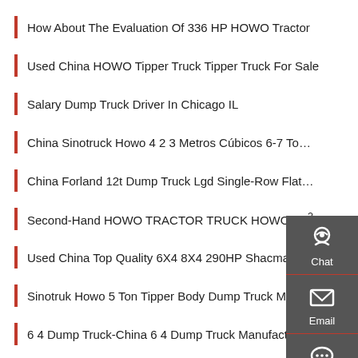How About The Evaluation Of 336 HP HOWO Tractor
Used China HOWO Tipper Truck Tipper Truck For Sale
Salary Dump Truck Driver In Chicago IL
China Sinotruck Howo 4 2 3 Metros Cúbicos 6-7 To…
China Forland 12t Dump Truck Lgd Single-Row Flat…
Second-Hand HOWO TRACTOR TRUCK HOWO 4A²…
Used China Top Quality 6X4 8X4 290HP Shacman…
Sinotruk Howo 5 Ton Tipper Body Dump Truck Mini 4x2
6 4 Dump Truck-China 6 4 Dump Truck Manufacturers